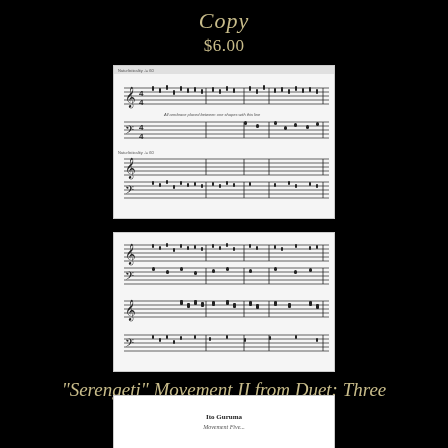Copy
$6.00
[Figure (illustration): Sheet music excerpt showing musical notation for a duet piece, with treble and bass clef staves, time signatures, notes, and performance markings. Two systems of music are visible.]
[Figure (illustration): Sheet music excerpt showing continuation of the duet piece with additional systems of notation in treble and bass clef.]
"Serengeti" Movement II from Duet: Three Landscapes
$5.00
[Figure (illustration): Sheet music cover or excerpt showing 'Ito Guruma' text and subtitle.]